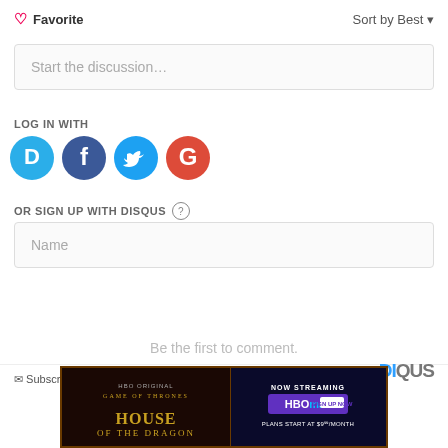♡ Favorite
Sort by Best ▾
Start the discussion…
LOG IN WITH
[Figure (illustration): Social login icons: Disqus (blue speech bubble with D), Facebook (dark blue circle with f), Twitter (light blue circle with bird), Google (red circle with G)]
OR SIGN UP WITH DISQUS ?
Name
Be the first to comment.
✉ Subscribe  ⓟ Add Disqus  ⚠ Do Not Sell My Data
[Figure (illustration): HBO Original Game of Thrones: House of the Dragon advertisement. Left side shows the show logo on dark background. Right side shows NOW STREAMING HBO Max SIGN UP NOW, PLANS START AT $9⁹⁹/MONTH. Close button (X) at top right.]